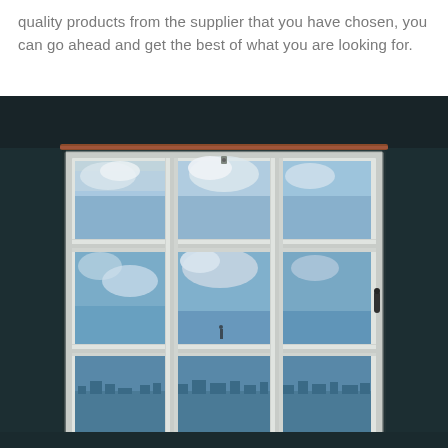quality products from the supplier that you have chosen, you can go ahead and get the best of what you are looking for.
[Figure (photo): Interior view of a classic sash window with a grid of nine panes, looking out over a cityscape with sky and clouds. The room interior is dark teal/dark walls. The window frame is white. Outside shows blue sky with white clouds and a city in the distance below.]